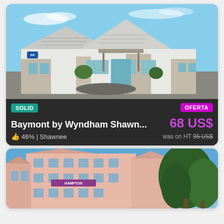[Figure (photo): Exterior photo of Baymont by Wyndham hotel building in Shawnee, single-story with metal roofing, blue sky background]
SOLID
OFERTA
Baymont by Wyndham Shawn...
68 US$
46% | Shawnee
was on HT 95 US$
[Figure (photo): Exterior photo of a pink multi-story Hampton Inn hotel building with trees and blue sky]